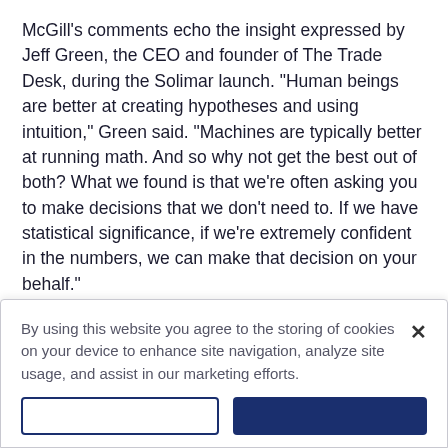McGill's comments echo the insight expressed by Jeff Green, the CEO and founder of The Trade Desk, during the Solimar launch. "Human beings are better at creating hypotheses and using intuition," Green said. "Machines are typically better at running math. And so why not get the best out of both? What we found is that we're often asking you to make decisions that we don't need to. If we have statistical significance, if we're extremely confident in the numbers, we can make that decision on your behalf."
Using data-driven machine learning to optimize ongoing campaigns allows a trader to streamline campaigns, McGill says. It frees up a lot of time, he says, and allows him to strategize with clients around new business objectives. "We've seen a lot of success
By using this website you agree to the storing of cookies on your device to enhance site navigation, analyze site usage, and assist in our marketing efforts.